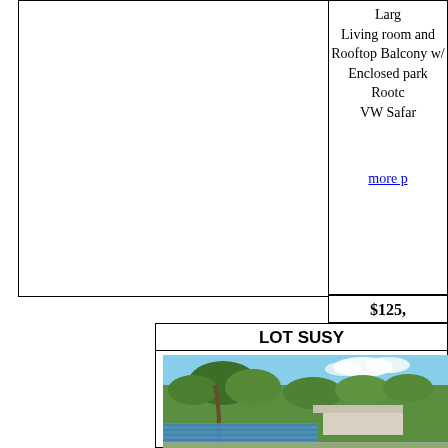Large
Living room and
Rooftop Balcony w/
Enclosed park
Rooftc
VW Safar
more p
$125,
LOT SUSY
[Figure (photo): Outdoor lot photo showing palm trees, tropical vegetation, blue tarp/cover in foreground, rooftops and cloudy sky in background]